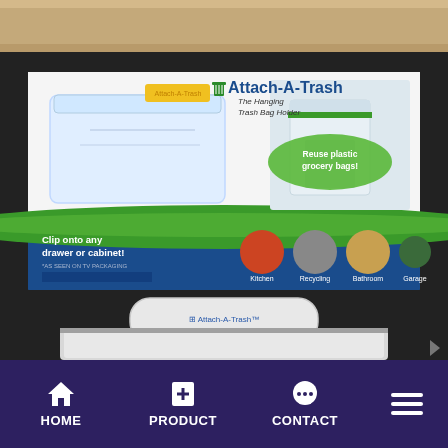[Figure (photo): Product photo showing an Attach-A-Trash hanging trash bag holder box packaging and the physical product below it on a dark countertop surface. The box shows the product name 'Attach-A-Trash - The Hanging Trash Bag Holder' with green and blue colors, images of use cases (Kitchen, Recycling, Bathroom, Garage), and text 'Reuse plastic grocery bags!' and 'Clip onto any drawer or cabinet!']
HOME   PRODUCT   CONTACT   [menu]